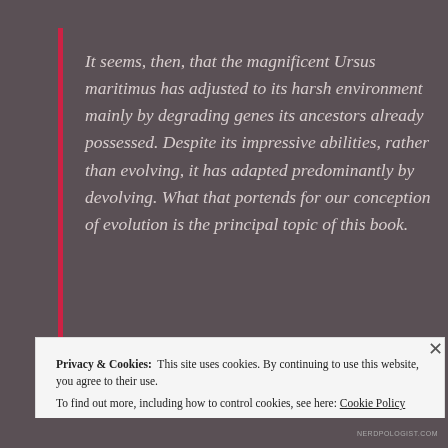It seems, then, that the magnificent Ursus maritimus has adjusted to its harsh environment mainly by degrading genes its ancestors already possessed. Despite its impressive abilities, rather than evolving, it has adapted predominantly by devolving. What that portends for our conception of evolution is the principal topic of this book.
Privacy & Cookies: This site uses cookies. By continuing to use this website, you agree to their use. To find out more, including how to control cookies, see here: Cookie Policy